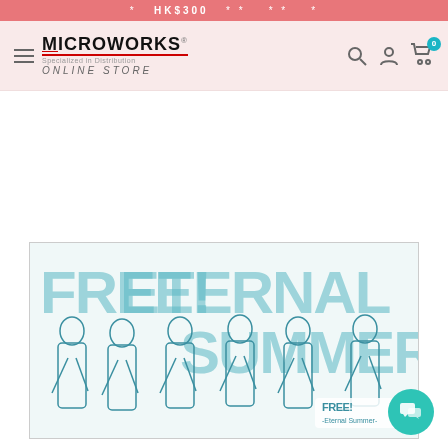* HK$300 * * * * *
[Figure (logo): Microworks Specialized in Distribution Online Store logo with hamburger menu, search, account, and cart (0) icons]
[Figure (photo): Free! Eternal Summer anime merchandise towel/poster featuring six male characters in white shirts with teal/blue tonal artwork, text reads FREE! ETERNAL SUMMER in background]